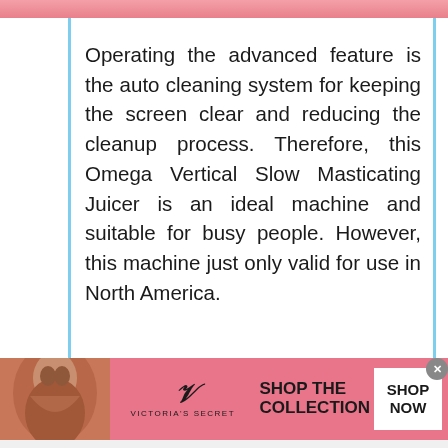Operating the advanced feature is the auto cleaning system for keeping the screen clear and reducing the cleanup process. Therefore, this Omega Vertical Slow Masticating Juicer is an ideal machine and suitable for busy people. However, this machine just only valid for use in North America.
[Figure (other): Victoria's Secret advertisement banner with pink background, model photo on left, VS logo in center, 'SHOP THE COLLECTION' text, and 'SHOP NOW' button on right]